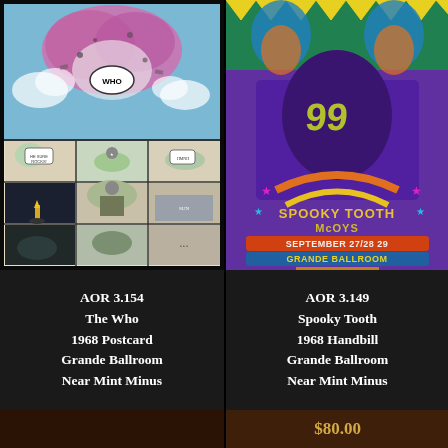[Figure (illustration): AOR 3.154 - The Who 1968 Postcard for Grande Ballroom. Psychedelic comic-style illustration with clouds, cartoon panels, and surreal imagery in blue, pink, and black and white.]
AOR 3.154
The Who
1968 Postcard
Grande Ballroom
Near Mint Minus
[Figure (illustration): AOR 3.149 - Spooky Tooth 1968 Handbill for Grande Ballroom. Colorful psychedelic poster with vibrant yellows, blues, greens, oranges and purples, featuring decorative text reading SPOOKY TOOTH McOYS SEPTEMBER 27/28 29 GRANDE BALLROOM.]
AOR 3.149
Spooky Tooth
1968 Handbill
Grande Ballroom
Near Mint Minus
$80.00